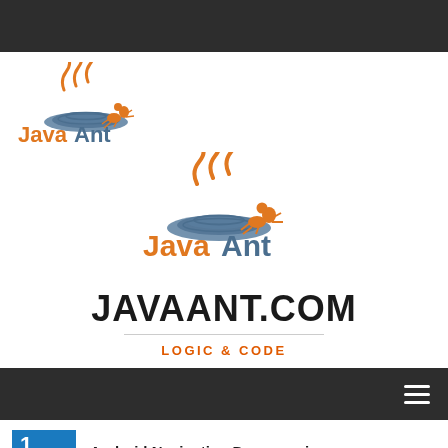[Figure (logo): JavaAnt logo small top-left with Java coffee cup steam and orange ant]
[Figure (logo): JavaAnt logo centered larger with Java coffee cup steam and orange ant]
JAVAANT.COM
LOGIC & CODE
Android Navigation Drawer using